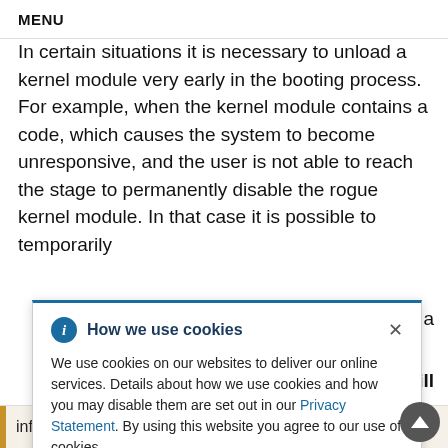MENU
In certain situations it is necessary to unload a kernel module very early in the booting process. For example, when the kernel module contains a code, which causes the system to become unresponsive, and the user is not able to reach the stage to permanently disable the rogue kernel module. In that case it is possible to temporarily
How we use cookies

We use cookies on our websites to deliver our online services. Details about how we use cookies and how you may disable them are set out in our Privacy Statement. By using this website you agree to our use of cookies.
information on how to add a kernel module to a